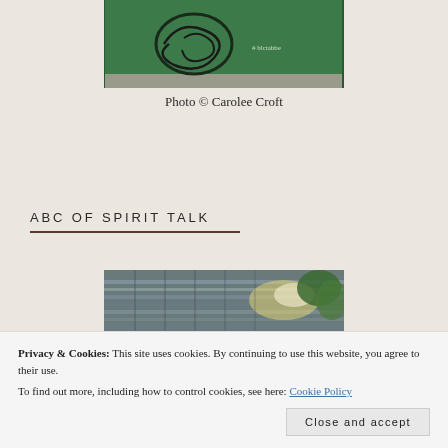[Figure (photo): Photo of green wall with abstract dark swirling artwork and handwritten text '#blctabbe']
Photo © Carolee Croft
ABC OF SPIRIT TALK
[Figure (photo): Photo showing stacked metallic/reflective objects with bright light and greenery in background]
Privacy & Cookies: This site uses cookies. By continuing to use this website, you agree to their use.
To find out more, including how to control cookies, see here: Cookie Policy
Close and accept